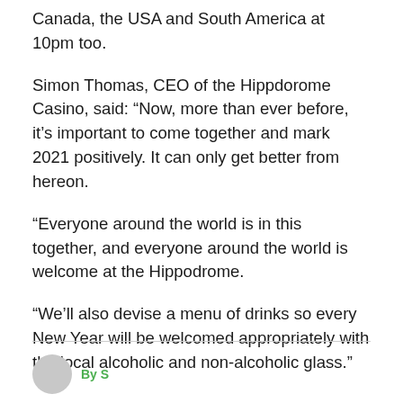Canada, the USA and South America at 10pm too.
Simon Thomas, CEO of the Hippdorome Casino, said: “Now, more than ever before, it’s important to come together and mark 2021 positively. It can only get better from hereon.
“Everyone around the world is in this together, and everyone around the world is welcome at the Hippodrome.
“We’ll also devise a menu of drinks so every New Year will be welcomed appropriately with the local alcoholic and non-alcoholic glass.”